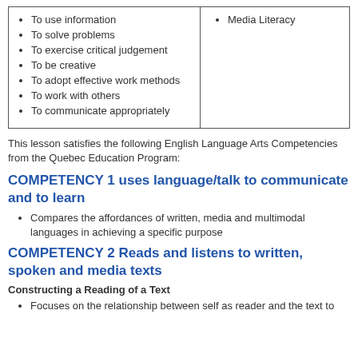| Cross-curricular Competencies | Media Literacy |
| --- | --- |
| To use information
To solve problems
To exercise critical judgement
To be creative
To adopt effective work methods
To work with others
To communicate appropriately | Media Literacy |
This lesson satisfies the following English Language Arts Competencies from the Quebec Education Program:
COMPETENCY 1 uses language/talk to communicate and to learn
Compares the affordances of written, media and multimodal languages in achieving a specific purpose
COMPETENCY 2 Reads and listens to written, spoken and media texts
Constructing a Reading of a Text
Focuses on the relationship between self as reader and the text to